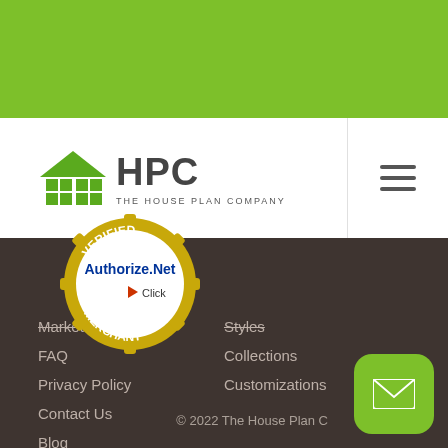[Figure (logo): The House Plan Company (HPC) logo with green house icon and text]
[Figure (other): Hamburger menu icon (three horizontal lines)]
Market Your Plans
Styles
FAQ
Collections
Privacy Policy
Customizations
Contact Us
Blog
[Figure (logo): Authorize.Net Verified Merchant badge - gold circular seal with blue Authorize.Net text and Click arrow]
© 2022 The House Plan C…